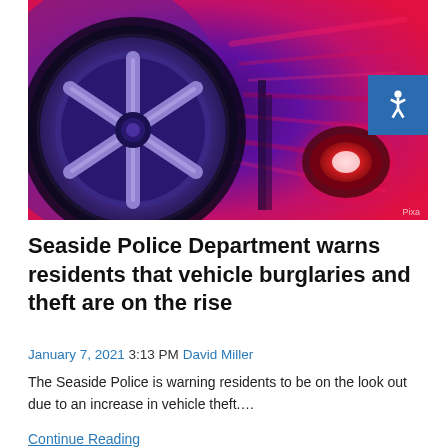[Figure (photo): Close-up photo of a car wheel/rim with purple and red police lights in the background and motion blur effects]
Seaside Police Department warns residents that vehicle burglaries and theft are on the rise
January 7, 2021 3:13 PM David Miller
The Seaside Police is warning residents to be on the look out due to an increase in vehicle theft....
Continue Reading